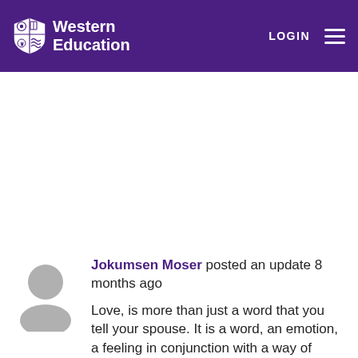Western Education — LOGIN
[Figure (illustration): Generic user avatar silhouette in grey (circle head + rounded body shape)]
Jokumsen Moser posted an update 8 months ago
Love, is more than just a word that you tell your spouse. It is a word, an emotion, a feeling in conjunction with a way of